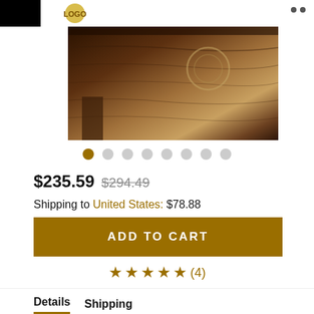[Figure (photo): Wooden carved product (table or shelf) with dark walnut finish, showing detailed woodgrain and carved decorative elements]
$235.59  $294.49
Shipping to United States: $78.88
ADD TO CART
★★★★★(4)
ASK A QUESTION
Details  Shipping